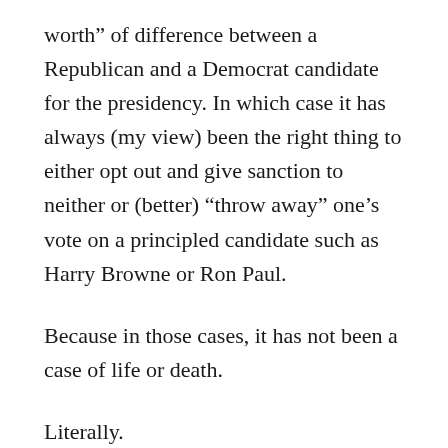worth” of difference between a Republican and a Democrat candidate for the presidency. In which case it has always (my view) been the right thing to either opt out and give sanction to neither or (better) “throw away” one’s vote on a principled candidate such as Harry Browne or Ron Paul.
Because in those cases, it has not been a case of life or death.
Literally.
And, figuratively.
If Hillary is elected, it will mean the end of whatever